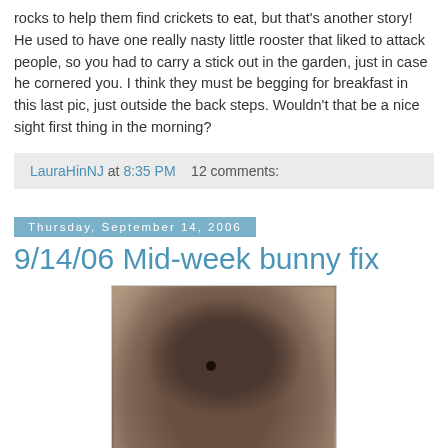rocks to help them find crickets to eat, but that's another story! He used to have one really nasty little rooster that liked to attack people, so you had to carry a stick out in the garden, just in case he cornered you. I think they must be begging for breakfast in this last pic, just outside the back steps. Wouldn't that be a nice sight first thing in the morning?
LauraHinNJ at 8:35 PM    12 comments:
Thursday, September 14, 2006
9/14/06 Mid-week bunny fix
[Figure (photo): Close-up photo of a brown rabbit, blurry, seen from slightly above, with dark eye visible]